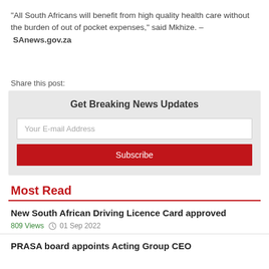“All South Africans will benefit from high quality health care without the burden of out of pocket expenses,” said Mkhize. – SAnews.gov.za
Share this post:
Get Breaking News Updates
Your E-mail Address
Subscribe
Most Read
New South African Driving Licence Card approved
809 Views  01 Sep 2022
PRASA board appoints Acting Group CEO